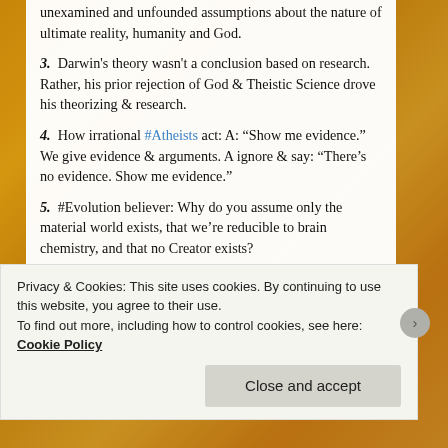unexamined and unfounded assumptions about the nature of ultimate reality, humanity and God.
3. Darwin's theory wasn't a conclusion based on research. Rather, his prior rejection of God & Theistic Science drove his theorizing & research.
4. How irrational #Atheists act: A: "Show me evidence." We give evidence & arguments. A ignore & say: "There's no evidence. Show me evidence."
5. #Evolution believer: Why do you assume only the material world exists, that we're reducible to brain chemistry, and that no Creator exists?
Privacy & Cookies: This site uses cookies. By continuing to use this website, you agree to their use. To find out more, including how to control cookies, see here: Cookie Policy
Close and accept